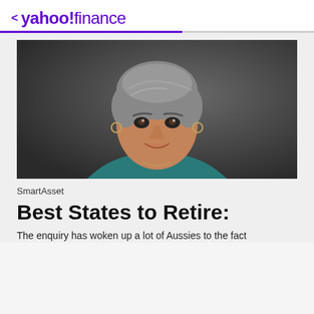< yahoo!finance
[Figure (photo): Professional portrait photo of a middle-aged woman with short grey hair, wearing a teal top, smiling, against a dark grey background.]
SmartAsset
Best States to Retire:
The enquiry has woken up a lot of Aussies to the fact